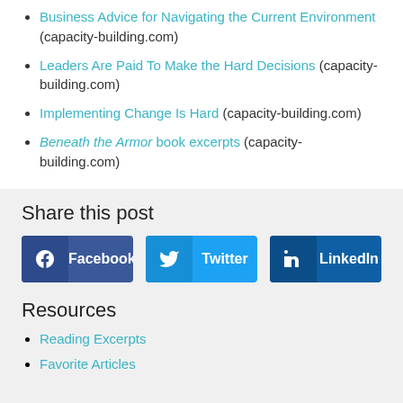Business Advice for Navigating the Current Environment (capacity-building.com)
Leaders Are Paid To Make the Hard Decisions (capacity-building.com)
Implementing Change Is Hard (capacity-building.com)
Beneath the Armor book excerpts (capacity-building.com)
Share this post
[Figure (other): Social share buttons for Facebook, Twitter, and LinkedIn]
Resources
Reading Excerpts
Favorite Articles